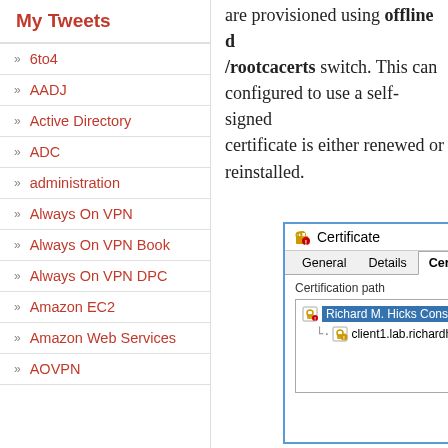My Tweets
» 6to4
» AADJ
» Active Directory
» ADC
» administration
» Always On VPN
» Always On VPN Book
» Always On VPN DPC
» Amazon EC2
» Amazon Web Services
» AOVPN
are provisioned using offline d… /rootcacerts switch. This can… configured to use a self-signed… certificate is either renewed or… reinstalled.
[Figure (screenshot): Certificate dialog box showing Certification Path tab with tree view. Root entry: Richard M. Hicks Consu… selected in blue, child entry: client1.lab.richardhi…]